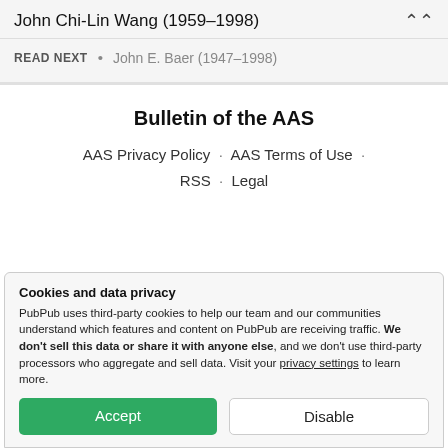John Chi-Lin Wang (1959–1998)
READ NEXT  •  John E. Baer (1947–1998)
Bulletin of the AAS
AAS Privacy Policy · AAS Terms of Use · RSS · Legal
Cookies and data privacy
PubPub uses third-party cookies to help our team and our communities understand which features and content on PubPub are receiving traffic. We don't sell this data or share it with anyone else, and we don't use third-party processors who aggregate and sell data. Visit your privacy settings to learn more.